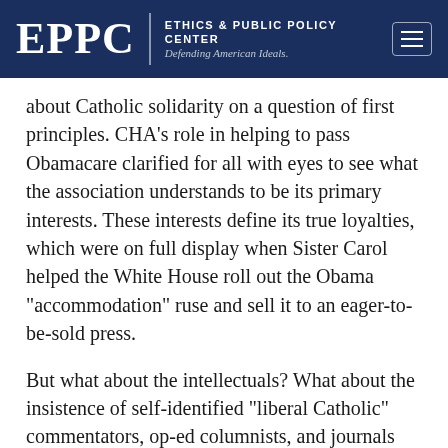EPPC | ETHICS & PUBLIC POLICY CENTER Defending American Ideals.
about Catholic solidarity on a question of first principles. CHA’s role in helping to pass Obamacare clarified for all with eyes to see what the association understands to be its primary interests. These interests define its true loyalties, which were on full display when Sister Carol helped the White House roll out the Obama “accommodation” ruse and sell it to an eager-to-be-sold press.
But what about the intellectuals? What about the insistence of self-identified “liberal Catholic” commentators, op-ed columnists, and journals that the HHS mandate had nothing to